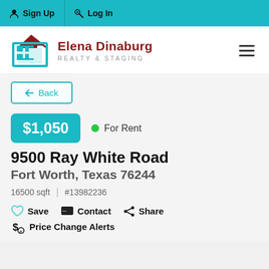Sign Up  Log In
[Figure (logo): Elena Dinaburg Realty & Staging logo with teal house icon and dark red text]
← Back
$1,050  • For Rent
9500 Ray White Road
Fort Worth, Texas 76244
16500 sqft  |  #13982236
Save  Contact  Share
Price Change Alerts